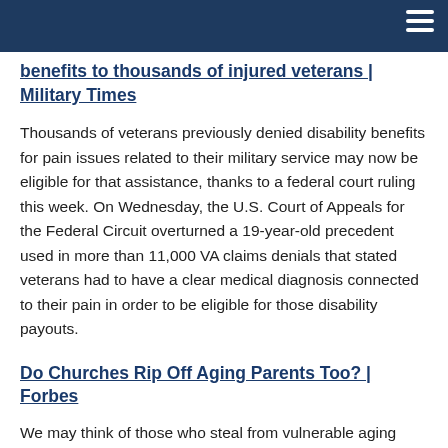Navigation bar
benefits to thousands of injured veterans | Military Times
Thousands of veterans previously denied disability benefits for pain issues related to their military service may now be eligible for that assistance, thanks to a federal court ruling this week. On Wednesday, the U.S. Court of Appeals for the Federal Circuit overturned a 19-year-old precedent used in more than 11,000 VA claims denials that stated veterans had to have a clear medical diagnosis connected to their pain in order to be eligible for those disability payouts.
Do Churches Rip Off Aging Parents Too? | Forbes
We may think of those who steal from vulnerable aging